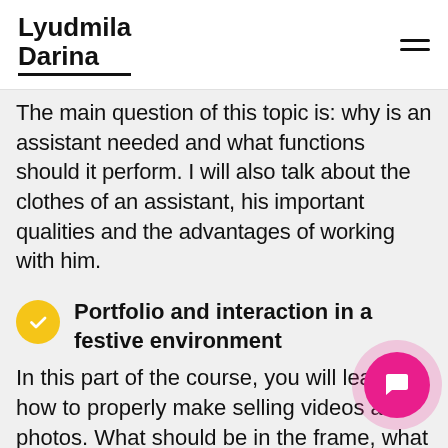Lyudmila Darina
The main question of this topic is: why is an assistant needed and what functions should it perform. I will also talk about the clothes of an assistant, his important qualities and the advantages of working with him.
Portfolio and interaction in a festive environment
In this part of the course, you will learn how to properly make selling videos and photos. What should be in the frame, what details when shooting need to pay